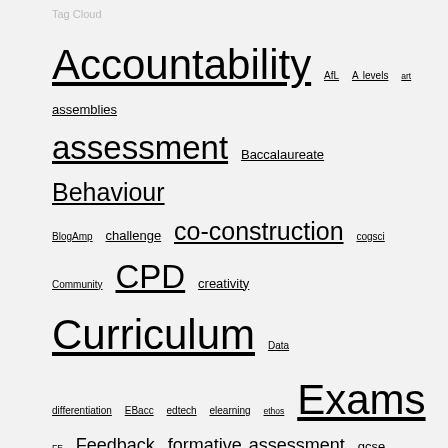Tag Cloud
Accountability AfL A levels art assemblies assessment Baccalaureate Behaviour BlogAmp challenge co-construction cogsci Community CPD creativity Curriculum Data differentiation EBacc edtech elearning ethos Exams FE Feedback formative assessment gcse gtvoice homework Human Spirit Inclusion independent ipads knowledge leadership league tables learning Lesson Study literacy marking mathchat maths memory mindset OfQual OfSTED parents pedagogy physics planning practice Primary problem solving PRP questioning relationships Research